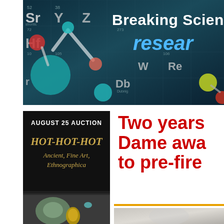[Figure (photo): Banner image showing 3D molecular ball-and-stick models overlaid on a periodic table of elements background with teal/blue color scheme. Text 'Breaking Science' and 'research' appear overlaid.]
[Figure (photo): Auction advertisement card with black background showing 'AUGUST 25 AUCTION' and 'HOT-HOT-HOT Ancient, Fine Art, Ethnographica' in gold/white text, with a photo of ancient jewelry below.]
Two years Dame awa to pre-fire
[Figure (photo): Partial thumbnail image in bottom right corner, appears to be a person or object, blurred/soft focus.]